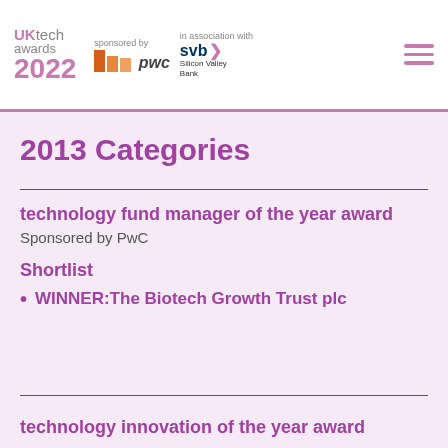UK tech awards 2022 — sponsored by PwC — in association with SVB Silicon Valley Bank
2013 Categories
technology fund manager of the year award
Sponsored by PwC
Shortlist
WINNER: The Biotech Growth Trust plc
technology innovation of the year award